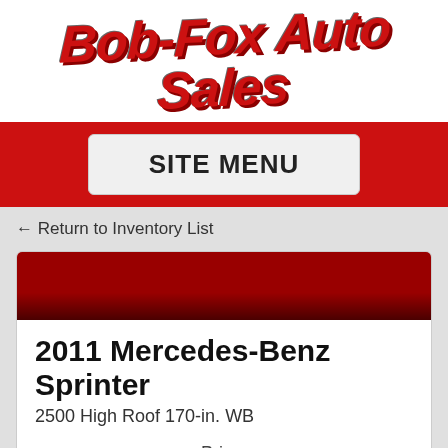Bob-Fox Auto Sales
SITE MENU
← Return to Inventory List
2011 Mercedes-Benz Sprinter
2500 High Roof 170-in. WB
Price:
$12,995